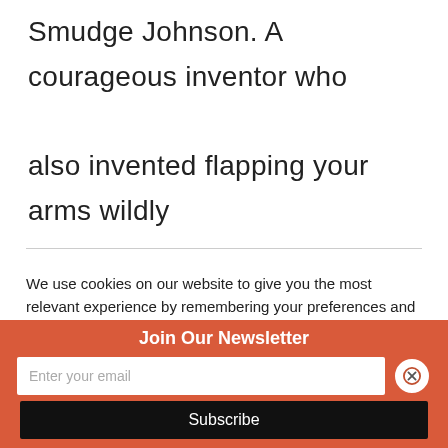Smudge Johnson. A courageous inventor who also invented flapping your arms wildly before hitting the ground."
We use cookies on our website to give you the most relevant experience by remembering your preferences and
Join Our Newsletter
Enter your email
Subscribe